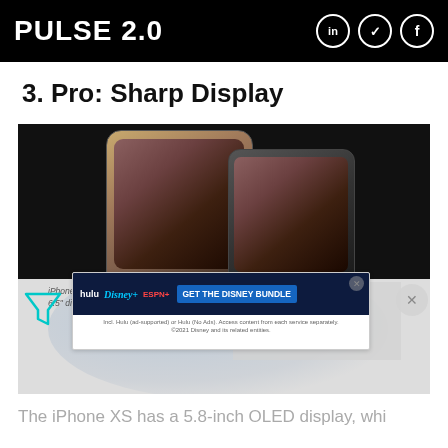PULSE 2.0
3. Pro: Sharp Display
[Figure (photo): iPhone XS and iPhone XS Max shown against a dark background with a faded Earth image. An advertisement overlay for Disney Bundle (Hulu, Disney+, ESPN+) is visible. A filter icon is shown on the left. Various UI overlays including Disneyland thumbnail, play button, and close buttons are visible.]
The iPhone XS has a 5.8-inch OLED display, whi